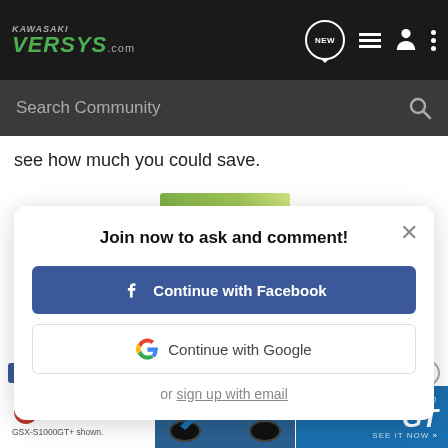KAWASAKI VERSYS.com — navigation with NEW, list, user, and menu icons
Search Community
see how much you could save.
Join now to ask and comment!
Continue with Facebook
Continue with Google
or sign up with email
[Figure (screenshot): Suzuki GSX-S1000 GT advertisement banner with motorcycle image, red Suzuki logo, and blue GSX-S 1000 GT See It Now badge]